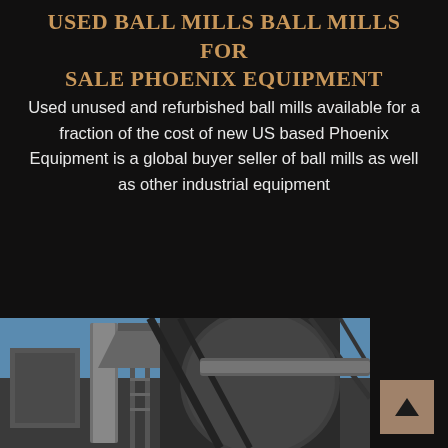USED BALL MILLS BALL MILLS FOR SALE PHOENIX EQUIPMENT
Used unused and refurbished ball mills available for a fraction of the cost of new US based Phoenix Equipment is a global buyer seller of ball mills as well as other industrial equipment
[Figure (photo): Photograph of industrial ball mill equipment showing large cylindrical metal structures, pipes, and ductwork against a blue sky background]